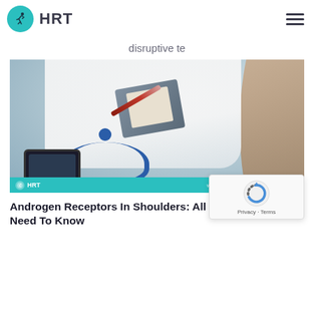HRT
disruptive te
[Figure (photo): Doctor in white coat writing on clipboard across desk from patient, with stethoscope and tablet visible on desk. Teal footer bar shows HRT logo and website URL.]
Androgen Receptors In Shoulders: All You Need To Know